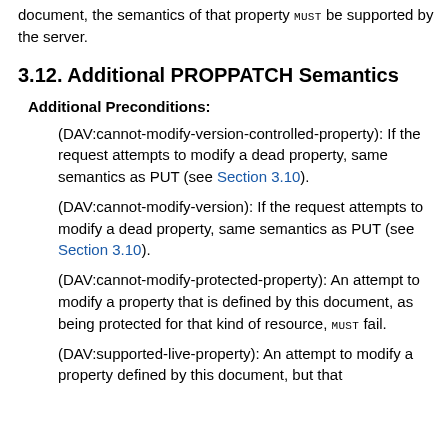document, the semantics of that property MUST be supported by the server.
3.12. Additional PROPPATCH Semantics
Additional Preconditions:
(DAV:cannot-modify-version-controlled-property): If the request attempts to modify a dead property, same semantics as PUT (see Section 3.10).
(DAV:cannot-modify-version): If the request attempts to modify a dead property, same semantics as PUT (see Section 3.10).
(DAV:cannot-modify-protected-property): An attempt to modify a property that is defined by this document, as being protected for that kind of resource, MUST fail.
(DAV:supported-live-property): An attempt to modify a property defined by this document, but that ...